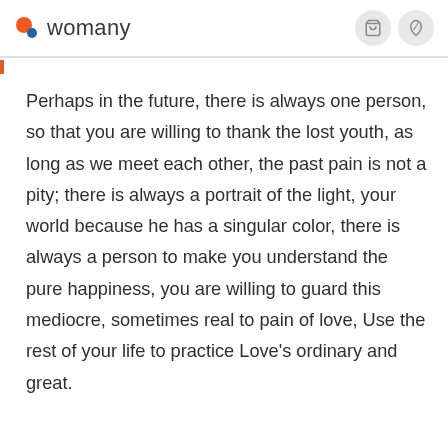womany
Perhaps in the future, there is always one person, so that you are willing to thank the lost youth, as long as we meet each other, the past pain is not a pity; there is always a portrait of the light, your world because he has a singular color, there is always a person to make you understand the pure happiness, you are willing to guard this mediocre, sometimes real to pain of love, Use the rest of your life to practice Love's ordinary and great.